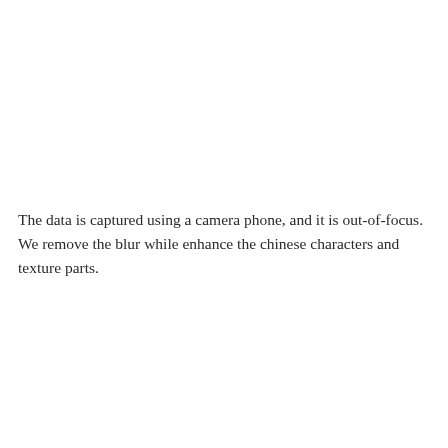The data is captured using a camera phone, and it is out-of-focus. We remove the blur while enhance the chinese characters and texture parts.